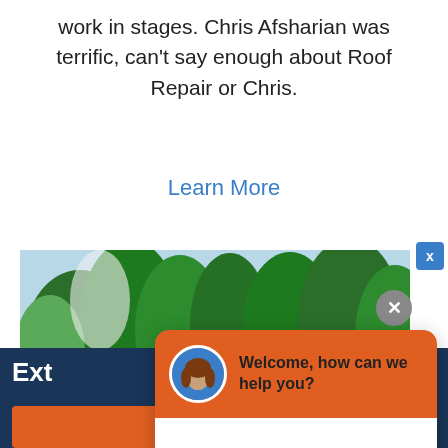work in stages. Chris Afsharian was terrific, can't say enough about Roof Repair or Chris.
Learn More
[Figure (photo): Photo of a house partially visible through green trees with a blue sky background.]
Ext
[Figure (screenshot): Chat widget with orange header showing an avatar of a woman and text 'Welcome, how can we help you?' and a white message input area with placeholder text 'Write your message...' and a send button.]